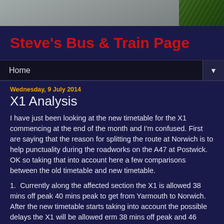[Figure (photo): Grey and green landscape photo banner at top of page]
Steve's Bus & Train Page
Home ▼
Wednesday, 9 July 2014
X1 Analysis
I have just been looking at the new timetable for the X1 commencing at the end of the month and I'm confused. First are saying that the reason for splitting the route at Norwich is to help punctuality during the roadworks on the A47 at Postwick. OK so taking that into account here a few comparisons between the old timetable and new timetable.
1.  Currently along the affected section the X1 is allowed 38 mins off peak 40 mins peak to get from Yarmouth to Norwich. After the new timetable starts taking into account the possible delays the X1 will be allowed erm 38 mins off peak and 46 peak to get from Yarmouth to Norwich.